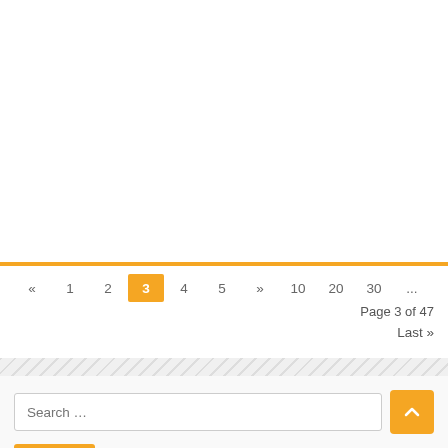« 1 2 3 4 5 » 10 20 30 ... Page 3 of 47 Last »
Search ...
Search